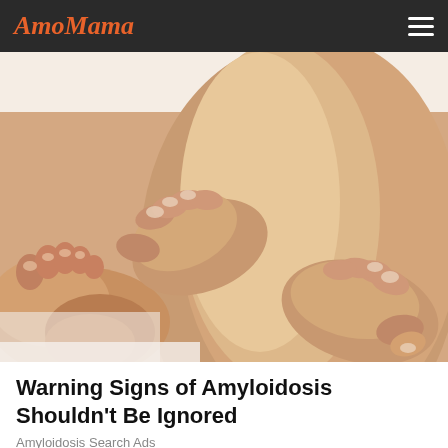AmoMama
[Figure (photo): Close-up photo of a person's swollen lower leg and ankle being examined or pressed by two hands, shown against a white background. The image depicts pitting edema, a symptom of amyloidosis.]
Warning Signs of Amyloidosis Shouldn't Be Ignored
Amyloidosis Search Ads